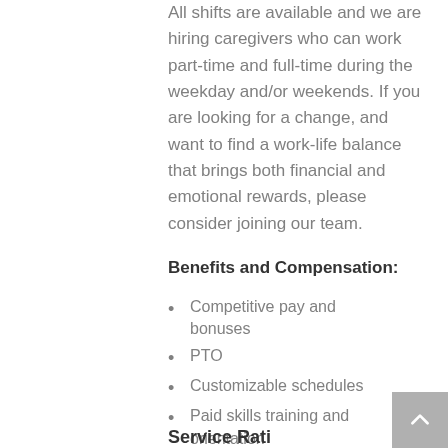All shifts are available and we are hiring caregivers who can work part-time and full-time during the weekday and/or weekends. If you are looking for a change, and want to find a work-life balance that brings both financial and emotional rewards, please consider joining our team.
Benefits and Compensation:
Competitive pay and bonuses
PTO
Customizable schedules
Paid skills training and orientation
Continuing education workshops
Recognition and awards